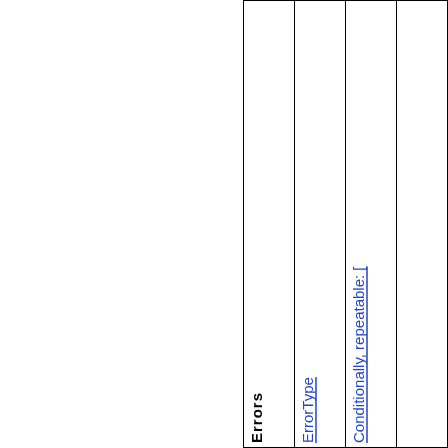| Errors | ErrorType | Conditionally, repeatable: [ |  |
| --- | --- | --- | --- |
|  |  |  |  |